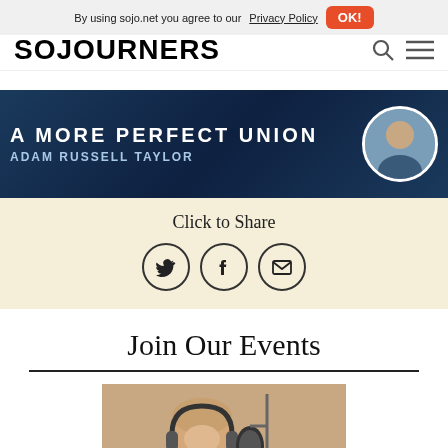By using sojo.net you agree to our Privacy Policy  OK!
[Figure (logo): SOJOURNERS logo in bold black text]
[Figure (illustration): Book banner: 'A MORE PERFECT UNION' by ADAM RUSSELL TAYLOR with headshot on dark blue background]
Click to Share
[Figure (infographic): Three circular social share icons: Twitter bird, Facebook f, Email envelope]
Join Our Events
[Figure (photo): Person wearing headphones laughing in front of a microphone in a recording studio]